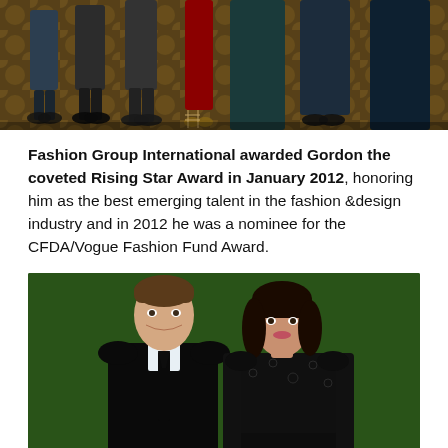[Figure (photo): Cropped photo showing lower halves of several people standing, showing legs and shoes/feet on a decorative floor. Various outfits including dark trousers, a red dress, and dark gowns.]
Fashion Group International awarded Gordon the coveted Rising Star Award in January 2012, honoring him as the best emerging talent in the fashion &design industry and in 2012 he was a nominee for the CFDA/Vogue Fashion Fund Award.
[Figure (photo): A man in a black suit with a black tie and a woman in a black lace dress posing together in front of a green hedge/ivy backdrop at what appears to be a formal event.]